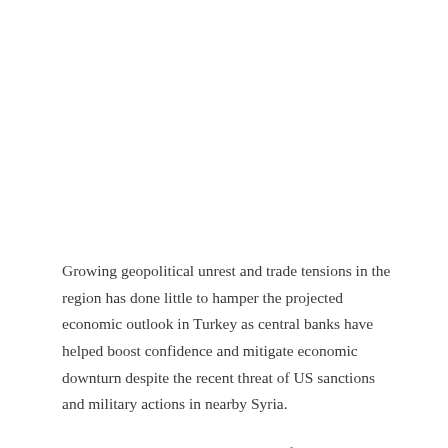Growing geopolitical unrest and trade tensions in the region has done little to hamper the projected economic outlook in Turkey as central banks have helped boost confidence and mitigate economic downturn despite the recent threat of US sanctions and military actions in nearby Syria.
Turkey was on track to see growth of nearly 3.0 per cent